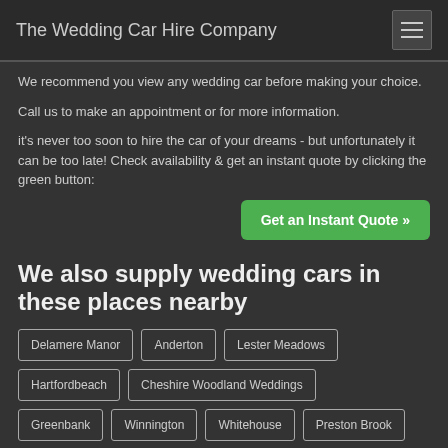The Wedding Car Hire Company
We recommend you view any wedding car before making your choice.
Call us to make an appointment or for more information.
it's never too soon to hire the car of your dreams - but unfortunately it can be too late! Check availability & get an instant quote by clicking the green button:
Get an Instant Quote »
We also supply wedding cars in these places nearby
Delamere Manor
Anderton
Lester Meadows
Hartfordbeach
Cheshire Woodland Weddings
Greenbank
Winnington
Whitehouse
Preston Brook